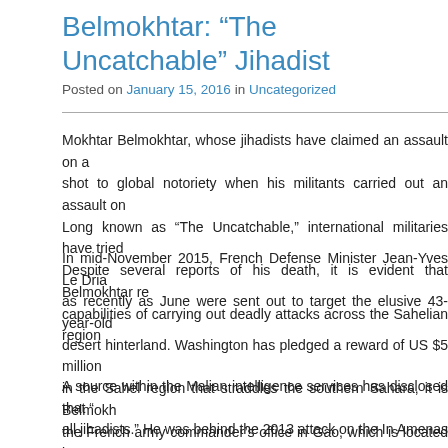Belmokhtar: “The Uncatchable” Jihadist
Posted on January 15, 2016 in Uncategorized
Mokhtar Belmokhtar, whose jihadists have claimed an assault on a shot to global notoriety when his militants carried out an assault on Long known as “The Uncatchable,” international militaries have tried Despite several reports of his death, it is evident that Belmokhtar re capabilities of carrying out deadly attacks across the Sahelian region
In mid-November 2015, French Defense Minister Jean-Yves Le Dria as recently as June were sent out to target the elusive 43-year-old desert hinterland. Washington has pledged a reward of US $5 million in the Sahel region that straddles the southern Sahara, it is Belmokh the French army commander’s office in Gao, which is located in stated that “it reminds me that he exist and wants to do me harm.”
A source within the Malian intelligence services has disclosed that “ all jihadists.” He was behind the 2013 attack on the In Amenas na region of Algeria, in which 39 hostages and 29 Islamists were killed his group, al-Murabitoun, remained loyal to al-Qaeda, effectively de so-called Islamic State (IS) group by another of the movement’s lead